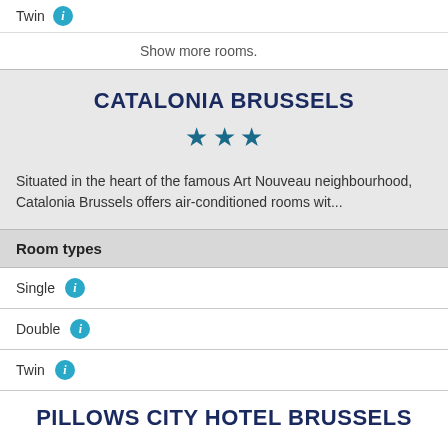Twin [info icon]
Show more rooms.
CATALONIA BRUSSELS
★★★
Situated in the heart of the famous Art Nouveau neighbourhood, Catalonia Brussels offers air-conditioned rooms wit...
Room types
Single [info icon]
Double [info icon]
Twin [info icon]
PILLOWS CITY HOTEL BRUSSELS